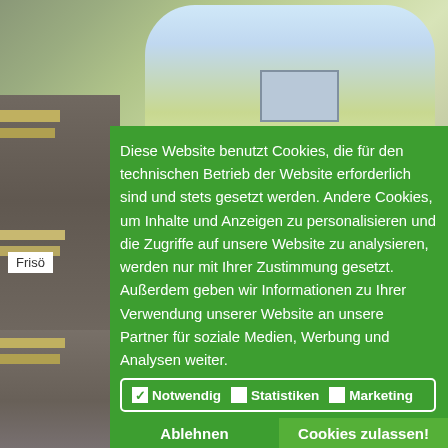[Figure (photo): Background photo showing exterior of a building with yellow-green facade and street signage, partially visible on left side and top.]
Frisö
Diese Website benutzt Cookies, die für den technischen Betrieb der Website erforderlich sind und stets gesetzt werden. Andere Cookies, um Inhalte und Anzeigen zu personalisieren und die Zugriffe auf unsere Website zu analysieren, werden nur mit Ihrer Zustimmung gesetzt. Außerdem geben wir Informationen zu Ihrer Verwendung unserer Website an unsere Partner für soziale Medien, Werbung und Analysen weiter.
☑ Notwendig  □ Statistiken  □ Marketing
Ablehnen
Cookies zulassen!